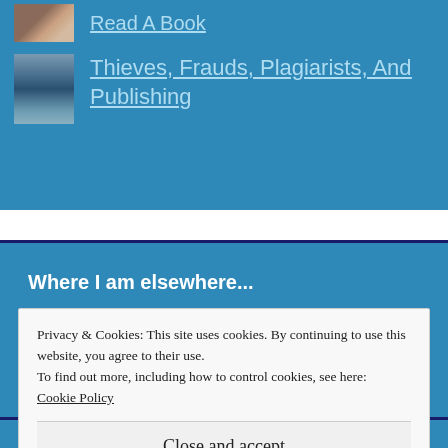Read A Book
Thieves, Frauds, Plagiarists, And Publishing
Where I am elsewhere...
Privacy & Cookies: This site uses cookies. By continuing to use this website, you agree to their use.
To find out more, including how to control cookies, see here: Cookie Policy
Close and accept
Select Month